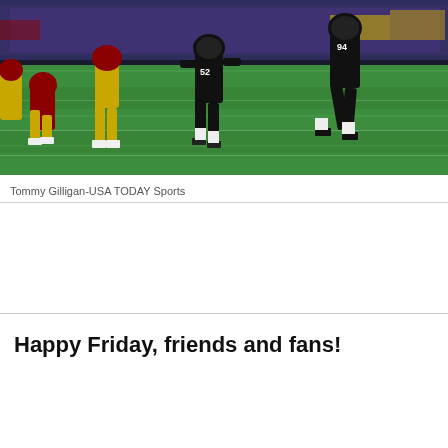[Figure (photo): NFL football game action photo showing players on a green field at night. Players in black uniforms (Baltimore Ravens) and players in gold/maroon uniforms (Washington Redskins). Multiple players mid-action on the field with stadium lighting and crowd visible in background.]
Tommy Gilligan-USA TODAY Sports
Happy Friday, friends and fans!